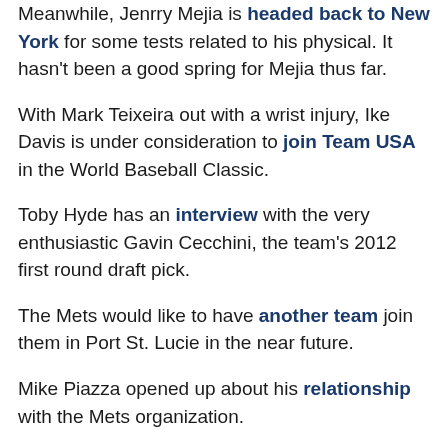Meanwhile, Jenrry Mejia is headed back to New York for some tests related to his physical. It hasn't been a good spring for Mejia thus far.
With Mark Teixeira out with a wrist injury, Ike Davis is under consideration to join Team USA in the World Baseball Classic.
Toby Hyde has an interview with the very enthusiastic Gavin Cecchini, the team's 2012 first round draft pick.
The Mets would like to have another team join them in Port St. Lucie in the near future.
Mike Piazza opened up about his relationship with the Mets organization.
Despite not signing with the club, Michael Bourn says